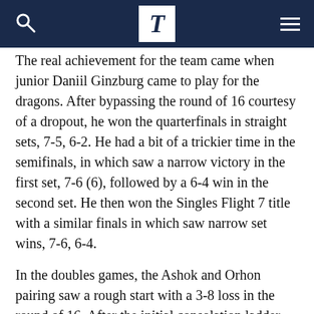T
The real achievement for the team came when junior Daniil Ginzburg came to play for the dragons. After bypassing the round of 16 courtesy of a dropout, he won the quarterfinals in straight sets, 7-5, 6-2. He had a bit of a trickier time in the semifinals, in which saw a narrow victory in the first set, 7-6 (6), followed by a 6-4 win in the second set. He then won the Singles Flight 7 title with a similar finals in which saw narrow set wins, 7-6, 6-4.
In the doubles games, the Ashok and Orhon pairing saw a rough start with a 3-8 loss in the round of 16. After the initial consolation ladder bye, they went on to win the next match 8-6 before ending their journey as a result of an un-played game. Lakshmanan and Saavedra went up next where they were edged in the opening